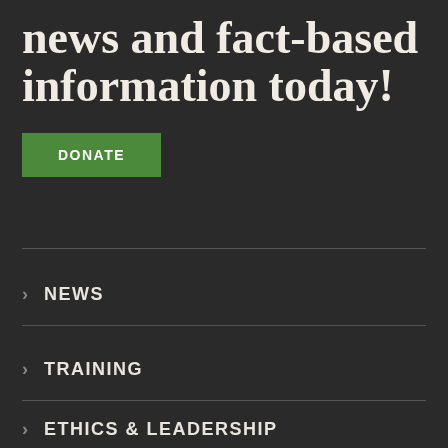news and fact-based information today!
DONATE
NEWS
TRAINING
ETHICS & LEADERSHIP